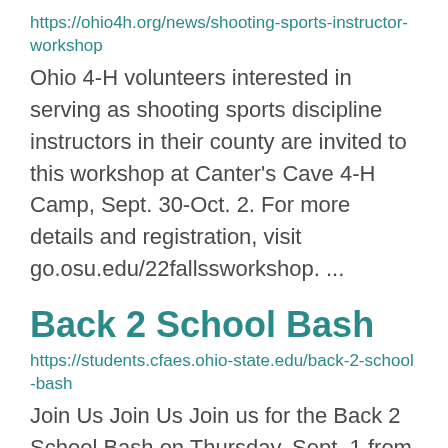https://ohio4h.org/news/shooting-sports-instructor-workshop
Ohio 4-H volunteers interested in serving as shooting sports discipline instructors in their county are invited to this workshop at Canter's Cave 4-H Camp, Sept. 30-Oct. 2. For more details and registration, visit go.osu.edu/22fallssworkshop. ...
Back 2 School Bash
https://students.cfaes.ohio-state.edu/back-2-school-bash
Join Us Join Us Join us for the Back 2 School Bash on Thursday, Sept. 1 from 4:00-7:00pm on the CFAES Campus.